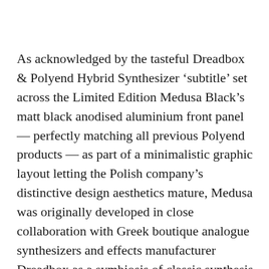As acknowledged by the tasteful Dreadbox & Polyend Hybrid Synthesizer 'subtitle' set across the Limited Edition Medusa Black's matt black anodised aluminium front panel — perfectly matching all previous Polyend products — as part of a minimalistic graphic layout letting the Polish company's distinctive design aesthetics mature, Medusa was originally developed in close collaboration with Greek boutique analogue synthesizers and effects manufacturer Dreadbox as a symbiosis of classic synthesis characteristics and a unique digital controller. Creatively including six oscillators — three (voltage-controlled) Analog and three Digital (with Wave Table) option — and a multimode analogue FILTER with L2 (2-pole low-pass), L4 (four-pole low-pass), and HP